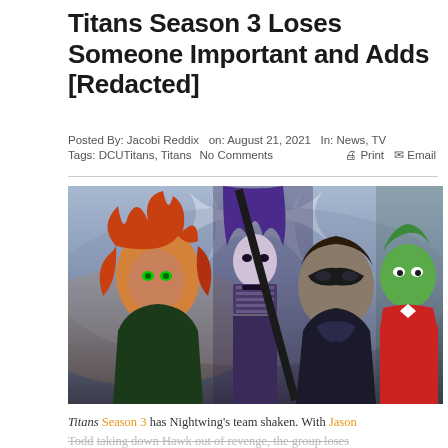Titans Season 3 Loses Someone Important and Adds [Redacted]
Posted By: Jacobi Reddix  on: August 21, 2021  In: News, TV
Tags: DCUTitans, Titans  No Comments  🖨 Print  ✉ Email
[Figure (photo): Promotional image for Titans TV show featuring four characters: a woman with red curly hair and green eyes (Starfire), a woman in purple gothic outfit (Raven), a man in a superhero mask (Nightwing/Robin), and a green-skinned man (Beast Boy)]
Titans Season 3 has Nightwing's team shaken. With Jason Todd taking down Hawk out of revenge, the group loses another member due to their grief. However, in the midst of this grief, they get a new problematic recruit to their...